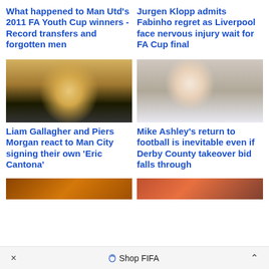What happened to Man Utd's 2011 FA Youth Cup winners - Record transfers and forgotten men
Jurgen Klopp admits Fabinho regret as Liverpool face nervous injury wait for FA Cup final
[Figure (photo): Erling Haaland in Borussia Dortmund black kit applauding fans, crowd in yellow behind]
[Figure (photo): Mike Ashley smiling, wearing white shirt, another person in background]
Liam Gallagher and Piers Morgan react to Man City signing their own 'Eric Cantona'
Mike Ashley's return to football is inevitable even if Derby County takeover bid falls through
[Figure (photo): Partial image visible at bottom left]
[Figure (photo): Partial image visible at bottom right]
× Shop FIFA ^